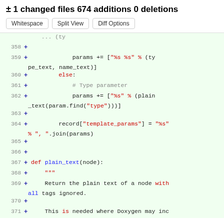± 1 changed files 674 additions 0 deletions
[Figure (screenshot): Buttons: Whitespace, Split View, Diff Options]
Code diff showing lines 358-371 with additions marked by + signs, Python code for template params and plain_text function